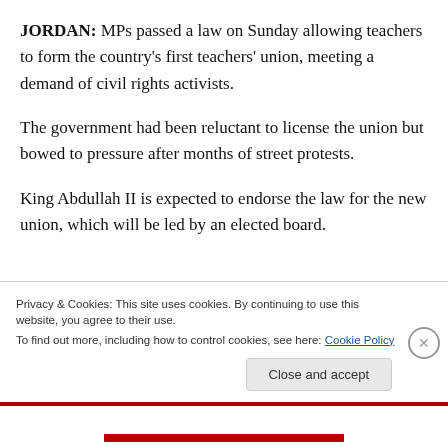JORDAN: MPs passed a law on Sunday allowing teachers to form the country's first teachers' union, meeting a demand of civil rights activists.
The government had been reluctant to license the union but bowed to pressure after months of street protests.
King Abdullah II is expected to endorse the law for the new union, which will be led by an elected board.
Privacy & Cookies: This site uses cookies. By continuing to use this website, you agree to their use.
To find out more, including how to control cookies, see here: Cookie Policy